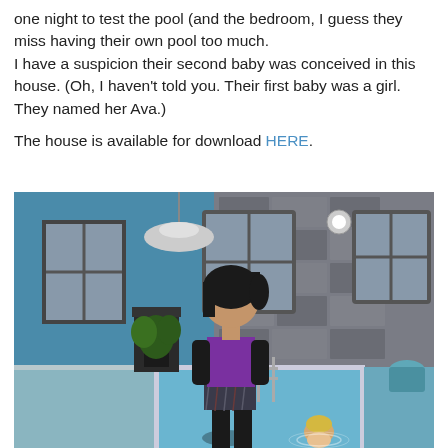one night to test the pool (and the bedroom, I guess they miss having their own pool too much. I have a suspicion their second baby was conceived in this house. (Oh, I haven't told you. Their first baby was a girl. They named her Ava.) The house is available for download HERE.
[Figure (screenshot): Screenshot from The Sims video game showing a female Sim character with black hair wearing a purple top and plaid skirt, standing at the edge of an indoor pool. A small baby Sim is visible in the pool water. The room has blue walls, stone accents, windows, and a pendant lamp.]